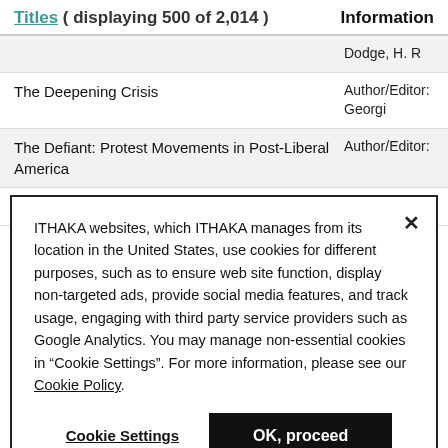| Titles ( displaying 500 of 2,014 ) | Information |
| --- | --- |
|  | Dodge, H. R |
| The Deepening Crisis | Author/Editor: Georgi |
| The Defiant: Protest Movements in Post-Liberal America | Author/Editor: |
| Defining the Family | Author/Editor: |
ITHAKA websites, which ITHAKA manages from its location in the United States, use cookies for different purposes, such as to ensure web site function, display non-targeted ads, provide social media features, and track usage, engaging with third party service providers such as Google Analytics. You may manage non-essential cookies in “Cookie Settings”. For more information, please see our Cookie Policy.
Cookie Settings | OK, proceed